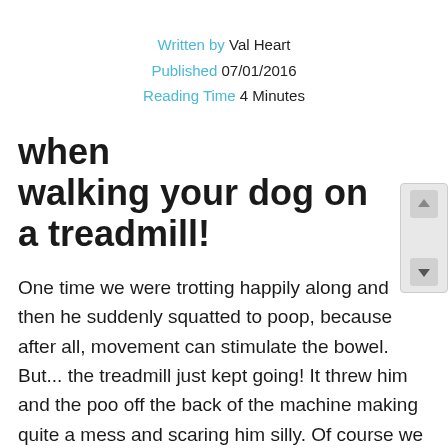Written by Val Heart
Published 07/01/2016
Reading Time 4 Minutes
when walking your dog on a treadmill!
One time we were trotting happily along and then he suddenly squatted to poop, because after all, movement can stimulate the bowel. But... the treadmill just kept going! It threw him and the poo off the back of the machine making quite a mess and scaring him silly. Of course we talked about it but he didn’t like the treadmill game so much after that... sigh.